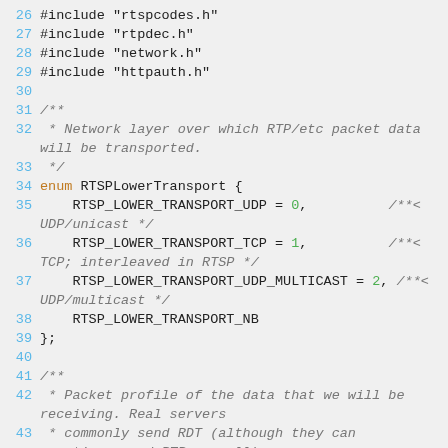Source code listing lines 26-44, C/C++ header includes and enum RTSPLowerTransport definition with Doxygen comments